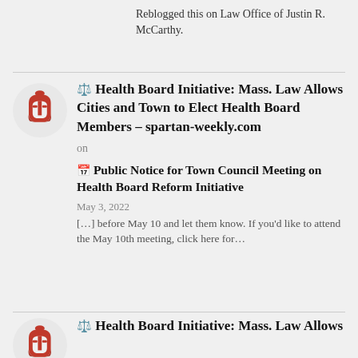Reblogged this on Law Office of Justin R. McCarthy.
⚖️ Health Board Initiative: Mass. Law Allows Cities and Town to Elect Health Board Members – spartan-weekly.com
on
📅 Public Notice for Town Council Meeting on Health Board Reform Initiative
May 3, 2022
[...] before May 10 and let them know. If you'd like to attend the May 10th meeting, click here for...
⚖️ Health Board Initiative: Mass. Law Allows